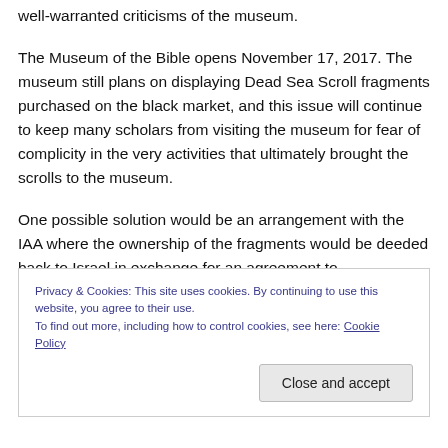well-warranted criticisms of the museum.
The Museum of the Bible opens November 17, 2017. The museum still plans on displaying Dead Sea Scroll fragments purchased on the black market, and this issue will continue to keep many scholars from visiting the museum for fear of complicity in the very activities that ultimately brought the scrolls to the museum.
One possible solution would be an arrangement with the IAA where the ownership of the fragments would be deeded back to Israel in exchange for an agreement to
Privacy & Cookies: This site uses cookies. By continuing to use this website, you agree to their use.
To find out more, including how to control cookies, see here: Cookie Policy
Close and accept